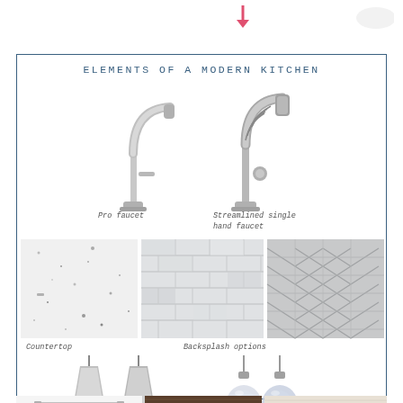[Figure (illustration): Pink/red downward arrow at top of page]
ELEMENTS OF A MODERN KITCHEN
[Figure (photo): Two kitchen faucets side by side: a pro faucet on the left and a streamlined single hand faucet on the right]
Pro faucet
Streamlined single hand faucet
[Figure (photo): Three material swatches: white/grey speckled countertop on left, grey subway tile backsplash in center, grey chevron metallic tile on right]
Countertop
Backsplash options
[Figure (photo): Four pendant light options: two cone-shaped metallic pendants on left, two globe/teardrop-shaped glass pendants on right]
Pendant light options
[Figure (photo): Bottom row showing cabinet hardware bar pull, dark wood cabinet swatch, and light beige/cream material swatch]